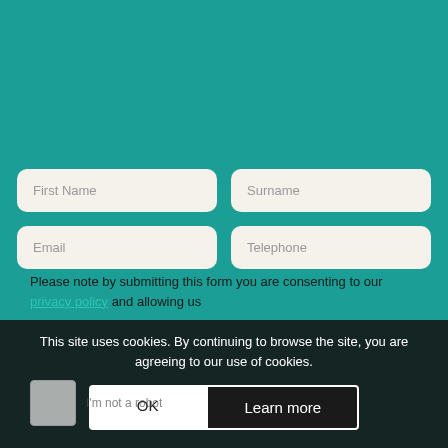straight back. Alternatively, give us a call on 0800 470 3900.
[Figure (screenshot): Web contact form with four input fields: First Name, Surname, Email, Telephone on a teal background]
Please note by submitting this form you are consenting to our privacy policy and allowing us
This site uses cookies. By continuing to browse the site, you are agreeing to our use of cookies.
OK
Learn more
I'm not a robot